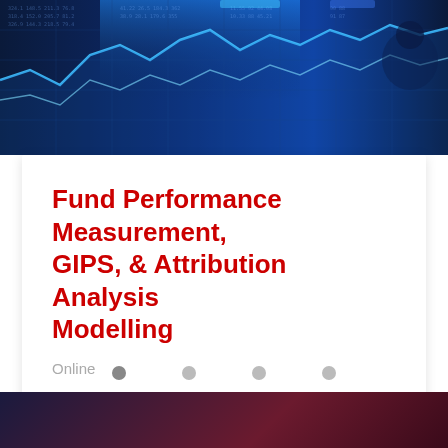[Figure (photo): Blue-tinted financial dashboard with stock charts, data tables, and a person in the background, used as a hero banner image.]
Fund Performance Measurement, GIPS, & Attribution Analysis Modelling
Online